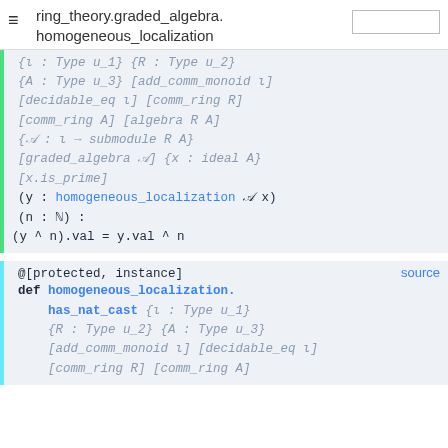ring_theory.graded_algebra.homogeneous_localization
{ι : Type u_1} {R : Type u_2}
{A : Type u_3} [add_comm_monoid ι]
[decidable_eq ι] [comm_ring R]
[comm_ring A] [algebra R A]
{𝒜 : ι → submodule R A}
[graded_algebra 𝒜] {x : ideal A}
[x.is_prime]
(y : homogeneous_localization 𝒜 x)
(n : ℕ) :
(y ^ n).val = y.val ^ n
@[protected, instance]
def homogeneous_localization.
    has_nat_cast {ι : Type u_1}
    {R : Type u_2} {A : Type u_3}
    [add_comm_monoid ι] [decidable_eq ι]
    [comm_ring R] [comm_ring A]